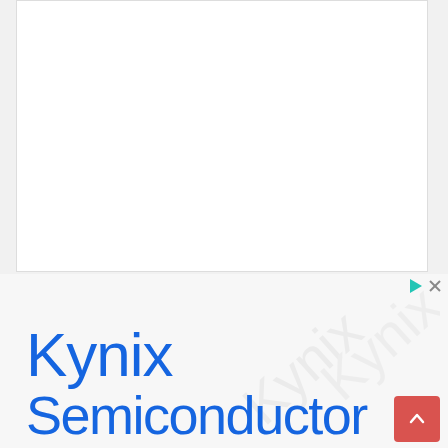[Figure (other): White blank content area at top of page, representing a web page content section with light border]
[Figure (logo): Kynix Semiconductor advertisement banner with large blue text reading 'Kynix Semiconductor' and faint watermark text in background, with ad controls (play and close icons) in upper right, and a red scroll-to-top button]